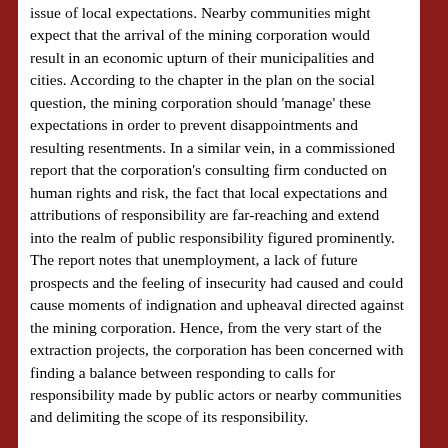issue of local expectations. Nearby communities might expect that the arrival of the mining corporation would result in an economic upturn of their municipalities and cities. According to the chapter in the plan on the social question, the mining corporation should 'manage' these expectations in order to prevent disappointments and resulting resentments. In a similar vein, in a commissioned report that the corporation's consulting firm conducted on human rights and risk, the fact that local expectations and attributions of responsibility are far-reaching and extend into the realm of public responsibility figured prominently. The report notes that unemployment, a lack of future prospects and the feeling of insecurity had caused and could cause moments of indignation and upheaval directed against the mining corporation. Hence, from the very start of the extraction projects, the corporation has been concerned with finding a balance between responding to calls for responsibility made by public actors or nearby communities and delimiting the scope of its responsibility.
The local expectations mentioned in the reports showed